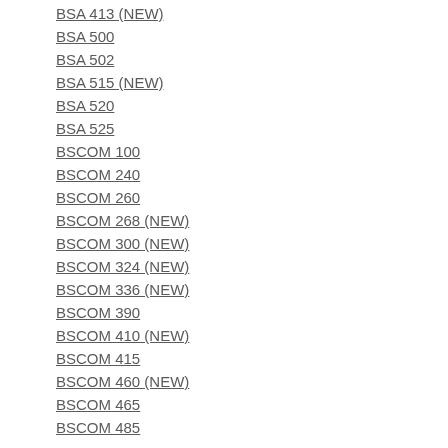BSA 413 (NEW)
BSA 500
BSA 502
BSA 515 (NEW)
BSA 520
BSA 525
BSCOM 100
BSCOM 240
BSCOM 260
BSCOM 268 (NEW)
BSCOM 300 (NEW)
BSCOM 324 (NEW)
BSCOM 336 (NEW)
BSCOM 390
BSCOM 410 (NEW)
BSCOM 415
BSCOM 460 (NEW)
BSCOM 465
BSCOM 485